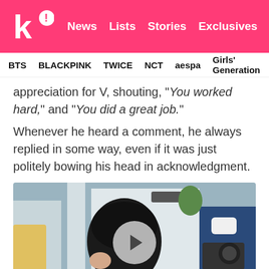k! News  Lists  Stories  Exclusives
BTS  BLACKPINK  TWICE  NCT  aespa  Girls' Generation
appreciation for V, shouting, "You worked hard," and "You did a great job."
Whenever he heard a comment, he always replied in some way, even if it was just politely bowing his head in acknowledgment.
[Figure (photo): Video thumbnail showing a person with dark hair wearing a black mask at what appears to be an airport, with a man in a blue jacket and white mask visible to the right holding a camera. A circular play button overlay is centered on the image.]